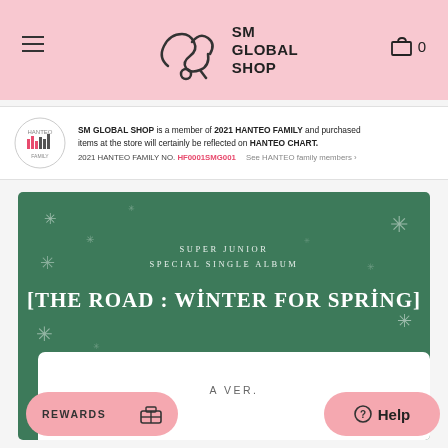SM GLOBAL SHOP
SM GLOBAL SHOP is a member of 2021 HANTEO FAMILY and purchased items at the store will certainly be reflected on HANTEO CHART. 2021 HANTEO FAMILY NO. HF0001SMG001  See HANTEO family members >
[Figure (illustration): Green themed album product banner for Super Junior Special Single Album [THE ROAD : WINTER FOR SPRING] with snowflake decorations, showing a white card with 'A VER.' text]
SUPER JUNIOR SPECIAL SINGLE ALBUM
[THE ROAD : WINTER FOR SPRING]
A VER.
REWARDS
Help